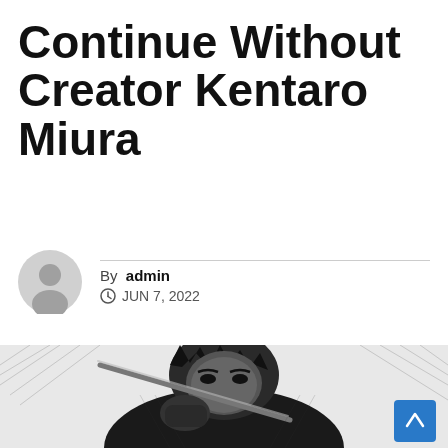Continue Without Creator Kentaro Miura
By admin
JUN 7, 2022
[Figure (illustration): Black and white manga-style illustration of a muscular male character with spiky dark hair holding a large sword/weapon, detailed crosshatching shading, stylized action manga art]